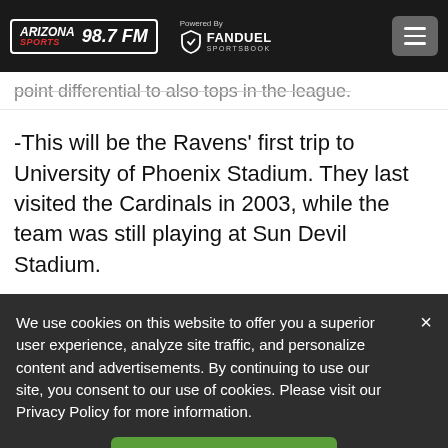ARIZONA SPORTS 98.7 FM | Powered By FANDUEL SPORTSBOOK
point differential to also tops in the league.
-This will be the Ravens' first trip to University of Phoenix Stadium. They last visited the Cardinals in 2003, while the team was still playing at Sun Devil Stadium.
We use cookies on this website to offer you a superior user experience, analyze site traffic, and personalize content and advertisements. By continuing to use our site, you consent to our use of cookies. Please visit our Privacy Policy for more information.
Accept Cookies